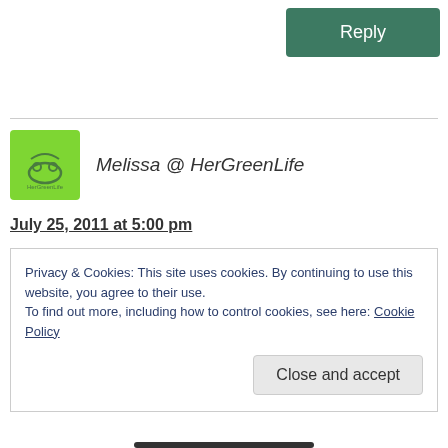Reply
Melissa @ HerGreenLife
July 25, 2011 at 5:00 pm
Our thoughts exactly. We were very ready to leave the hospital behind!
Privacy & Cookies: This site uses cookies. By continuing to use this website, you agree to their use.
To find out more, including how to control cookies, see here: Cookie Policy
Close and accept